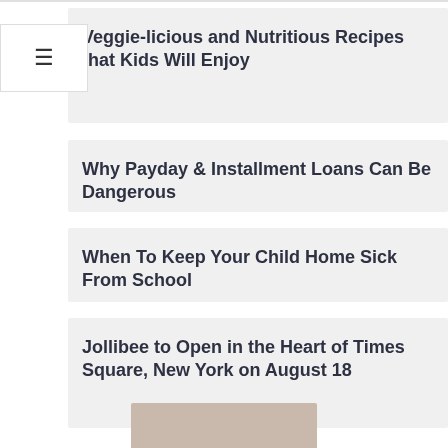Veggie-licious and Nutritious Recipes that Kids Will Enjoy
Why Payday & Installment Loans Can Be Dangerous
When To Keep Your Child Home Sick From School
Jollibee to Open in the Heart of Times Square, New York on August 18
[Figure (photo): Partial photo of a person visible at the bottom of the page]